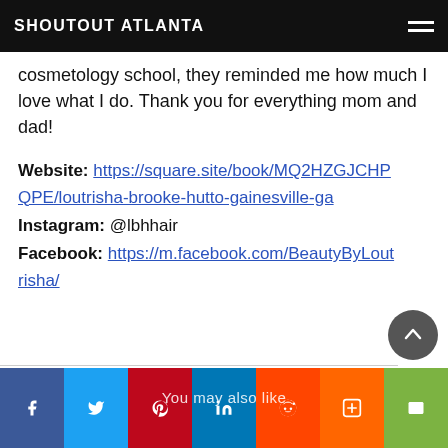SHOUTOUT ATLANTA
cosmetology school, they reminded me how much I love what I do. Thank you for everything mom and dad!
Website: https://square.site/book/MQ2HZGJCHPQPE/loutrisha-brooke-hutto-gainesville-ga
Instagram: @lbhhair
Facebook: https://m.facebook.com/BeautyByLoutrisha/
You may also like